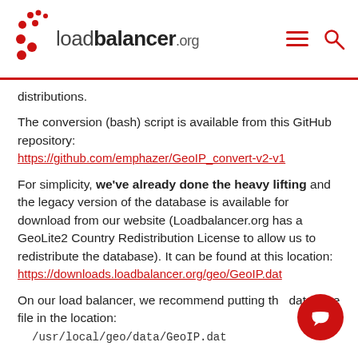loadbalancer.org
distributions.
The conversion (bash) script is available from this GitHub repository:
https://github.com/emphazer/GeoIP_convert-v2-v1
For simplicity, we've already done the heavy lifting and the legacy version of the database is available for download from our website (Loadbalancer.org has a GeoLite2 Country Redistribution License to allow us to redistribute the database). It can be found at this location:
https://downloads.loadbalancer.org/geo/GeoIP.dat
On our load balancer, we recommend putting the database file in the location:
/usr/local/geo/data/GeoIP.dat